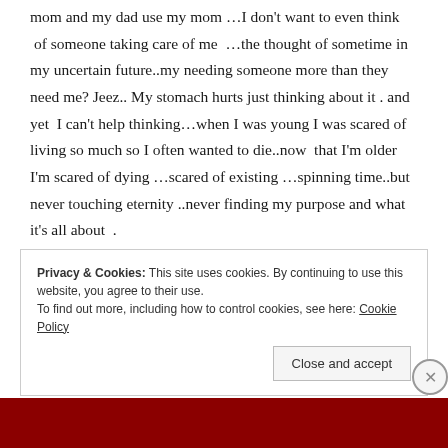mom and my dad use my mom …I don't want to even think of someone taking care of me …the thought of sometime in my uncertain future..my needing someone more than they need me? Jeez.. My stomach hurts just thinking about it . and yet I can't help thinking…when I was young I was scared of living so much so I often wanted to die..now that I'm older I'm scared of dying …scared of existing …spinning time..but never touching eternity ..never finding my purpose and what it's all about .
Privacy & Cookies: This site uses cookies. By continuing to use this website, you agree to their use. To find out more, including how to control cookies, see here: Cookie Policy
Close and accept